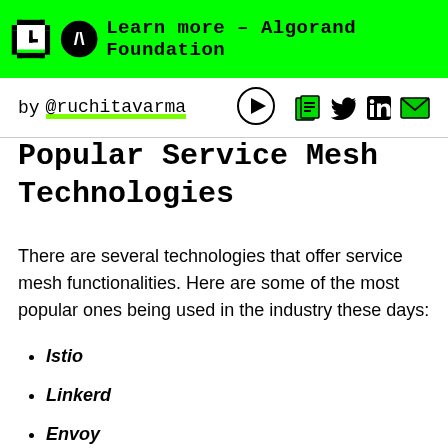Learn more – Algorand Foundation
by @ruchitavarma
Popular Service Mesh Technologies
There are several technologies that offer service mesh functionalities. Here are some of the most popular ones being used in the industry these days:
Istio
Linkerd
Envoy
Conduit